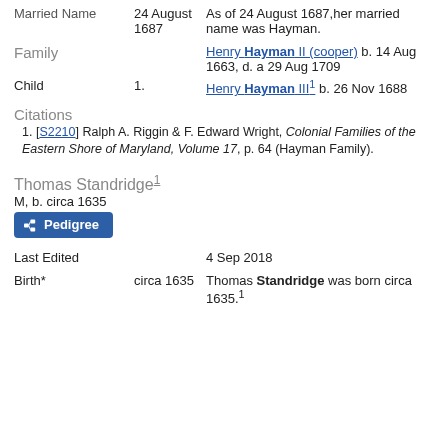Married Name   24 August 1687   As of 24 August 1687,her married name was Hayman.
Family   Henry Hayman II (cooper) b. 14 Aug 1663, d. a 29 Aug 1709
Child   1.   Henry Hayman III b. 26 Nov 1688
Citations
[S2210] Ralph A. Riggin & F. Edward Wright, Colonial Families of the Eastern Shore of Maryland, Volume 17, p. 64 (Hayman Family).
Thomas Standridge
M, b. circa 1635
Last Edited   4 Sep 2018
Birth*   circa 1635   Thomas Standridge was born circa 1635.